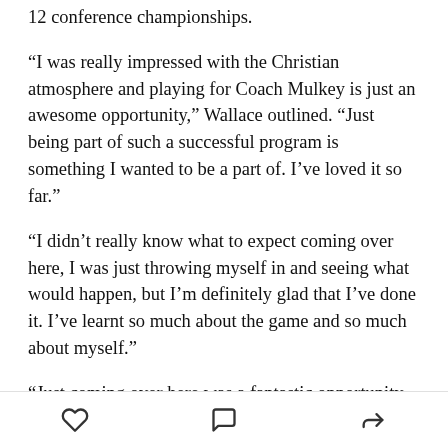12 conference championships.
“I was really impressed with the Christian atmosphere and playing for Coach Mulkey is just an awesome opportunity,” Wallace outlined. “Just being part of such a successful program is something I wanted to be a part of. I’ve loved it so far.”
“I didn’t really know what to expect coming over here, I was just throwing myself in and seeing what would happen, but I’m definitely glad that I’ve done it. I’ve learnt so much about the game and so much about myself.”
“Just coming over here was a fantastic opportunity and I’m enthusiastic about it, and I think people should
[heart icon] [comment icon] [share icon]